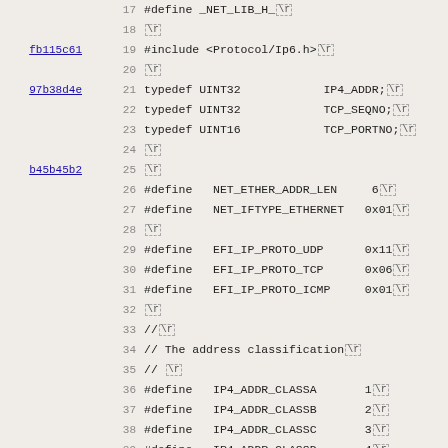Source code listing lines 17-49, showing C header file definitions for network protocol constants including IP4_ADDR, TCP_SEQNO, TCP_PORTNO, NET_ETHER_ADDR_LEN, NET_IFTYPE_ETHERNET, EFI_IP_PROTO_UDP/TCP/ICMP, IP4_ADDR_CLASS A-E, IP4_MASK_NUM, and IP6 header types